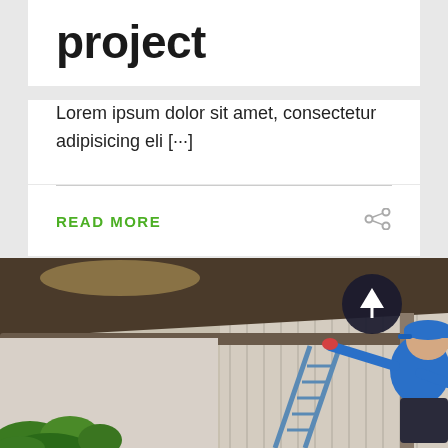project
Lorem ipsum dolor sit amet, consectetur adipisicing eli [···]
READ MORE
[Figure (photo): A man in a blue cap and blue t-shirt standing on a ladder cleaning gutters on a house roofline, with green plants below and a dark circular up-arrow button overlay in the top right area of the image.]